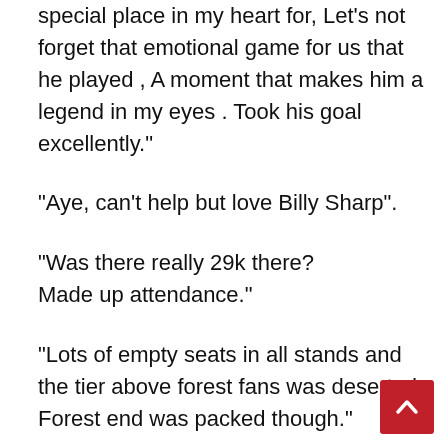special place in my heart for, Let’s not forget that emotional game for us that he played , A moment that makes him a legend in my eyes . Took his goal excellently.”
“Aye, can’t help but love Billy Sharp”.
“Was there really 29k there?
Made up attendance.”
“Lots of empty seats in all stands and the tier above forest fans was deserted.
Forest end was packed though.”
“Looking at the Sheffield Forum and it is a good one to be fair. One point made about Forest “they came to play and no shithousery”. Great credit to the manager and players is that, from